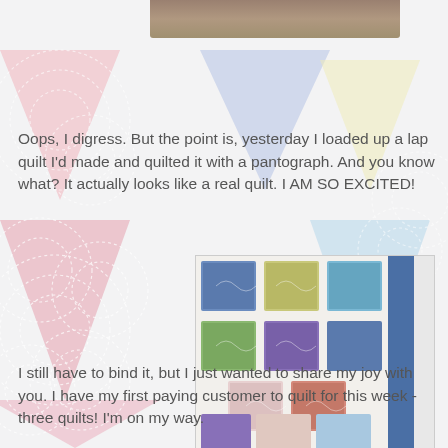[Figure (photo): Partial photo of a person visible at the top of the page]
Oops, I digress.  But the point is, yesterday I loaded up a lap quilt I'd made and quilted it with a pantograph. And you know what? It actually looks like a real quilt. I AM SO EXCITED!
[Figure (photo): Photo of a colorful patchwork quilt with floral fabric squares in blue, green, purple, red/orange, and white, showing quilting stitches in a swirl pattern, with a blue border strip on the right.]
I still have to bind it, but I just wanted to share my joy with you. I have my first paying customer to quilt for this week - three quilts! I'm on my way.